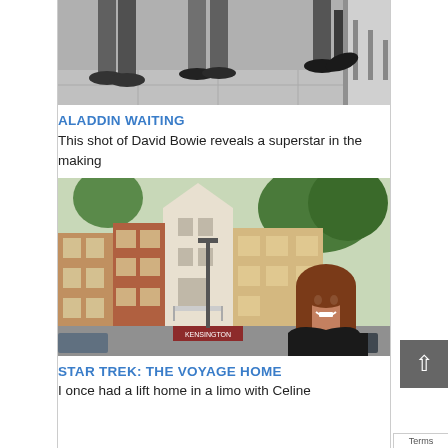[Figure (photo): Black and white photo showing feet and lower legs of people standing on a pavement, partially cropped at top]
ALADDIN WAITING
This shot of David Bowie reveals a superstar in the making
[Figure (photo): Colour photo of London terraced houses/street with a smiling woman with brown hair in the foreground bottom right, wearing a dark top]
STAR TREK: THE VOYAGE HOME
I once had a lift home in a limo with Celine